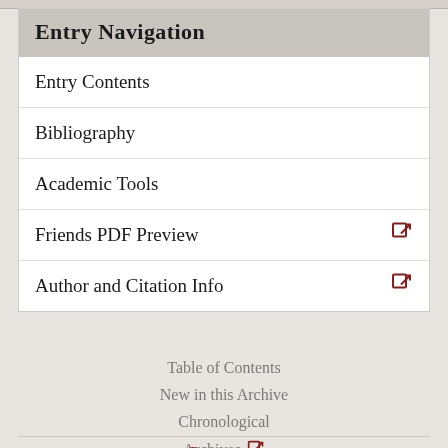Entry Navigation
Entry Contents
Bibliography
Academic Tools
Friends PDF Preview
Author and Citation Info
Table of Contents
New in this Archive
Chronological Archives
About
Editorial Information
About the SEP
Editorial Board